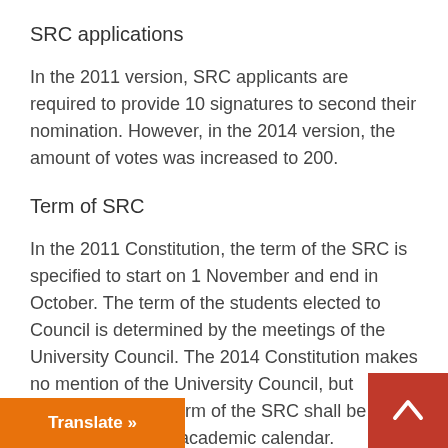SRC applications
In the 2011 version, SRC applicants are required to provide 10 signatures to second their nomination. However, in the 2014 version, the amount of votes was increased to 200.
Term of SRC
In the 2011 Constitution, the term of the SRC is specified to start on 1 November and end in October. The term of the students elected to Council is determined by the meetings of the University Council. The 2014 Constitution makes no mention of the University Council, but specifies that the term of the SRC shall be determined by the academic calendar.